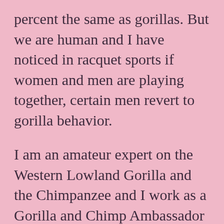percent the same as gorillas. But we are human and I have noticed in racquet sports if women and men are playing together, certain men revert to gorilla behavior.

I am an amateur expert on the Western Lowland Gorilla and the Chimpanzee and I work as a Gorilla and Chimp Ambassador at the Dallas zoo speaking to zoo guests about their behaviors and